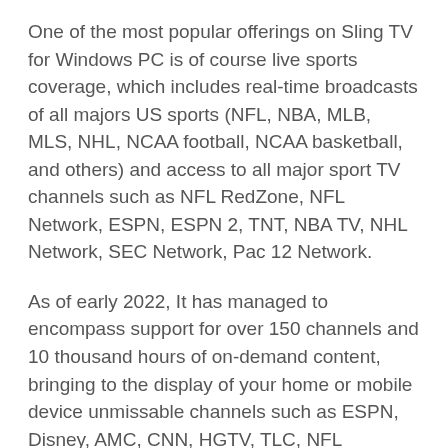One of the most popular offerings on Sling TV for Windows PC is of course live sports coverage, which includes real-time broadcasts of all majors US sports (NFL, NBA, MLB, MLS, NHL, NCAA football, NCAA basketball, and others) and access to all major sport TV channels such as NFL RedZone, NFL Network, ESPN, ESPN 2, TNT, NBA TV, NHL Network, SEC Network, Pac 12 Network.
As of early 2022, It has managed to encompass support for over 150 channels and 10 thousand hours of on-demand content, bringing to the display of your home or mobile device unmissable channels such as ESPN, Disney, AMC, CNN, HGTV, TLC, NFL Network, Discovery, NBC and many others.
You can try Sling TV right now via the FREE trial!
Installation and Use